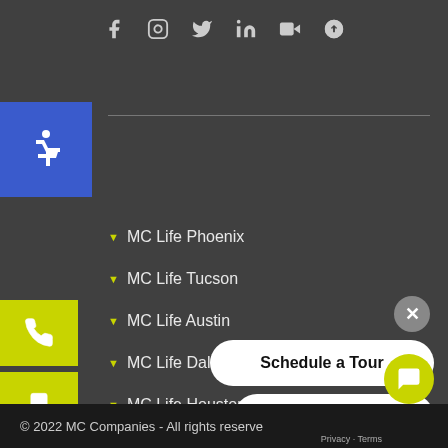[Figure (screenshot): Social media icons: Facebook, Instagram, Twitter, LinkedIn, YouTube, Pinterest]
[Figure (illustration): Accessibility wheelchair icon in blue box]
MC Life Phoenix
MC Life Tucson
MC Life Austin
MC Life Dallas
MC Life Houston
MC Life San Antonio
MC Life Tulsa
[Figure (screenshot): Phone icon on yellow/green button]
[Figure (screenshot): Mobile phone icon on yellow/green button]
[Figure (screenshot): Clipboard icon on yellow/green button]
Schedule a Tour
View Photos
Prices / Availability
© 2022 MC Companies - All rights reserved